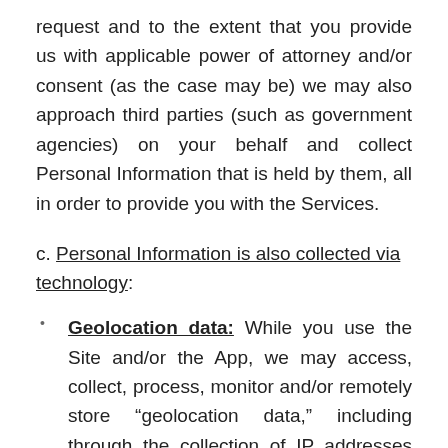request and to the extent that you provide us with applicable power of attorney and/or consent (as the case may be) we may also approach third parties (such as government agencies) on your behalf and collect Personal Information that is held by them, all in order to provide you with the Services.
c. Personal Information is also collected via technology:
Geolocation data: While you use the Site and/or the App, we may access, collect, process, monitor and/or remotely store “geolocation data,” including through the collection of IP addresses and other similar information to determine your location for